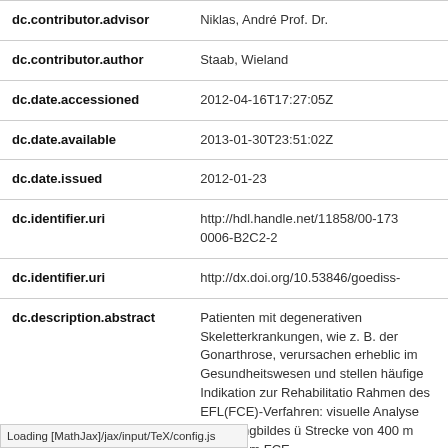| Field | Value |
| --- | --- |
| dc.contributor.advisor | Niklas, André Prof. Dr. |
| dc.contributor.author | Staab, Wieland |
| dc.date.accessioned | 2012-04-16T17:27:05Z |
| dc.date.available | 2013-01-30T23:51:02Z |
| dc.date.issued | 2012-01-23 |
| dc.identifier.uri | http://hdl.handle.net/11858/00-1730006-B2C2-2 |
| dc.identifier.uri | http://dx.doi.org/10.53846/goediss- |
| dc.description.abstract | Patienten mit degenerativen Skeletterkrankungen, wie z. B. der Gonarthrose, verursachen erheblic im Gesundheitswesen und stellen häufige Indikation zur Rehabilitatio Rahmen des EFL(FCE)-Verfahren: visuelle Analyse des Gangbildes ü Strecke von 400 m von einem FCE |
Loading [MathJax]/jax/input/TeX/config.js